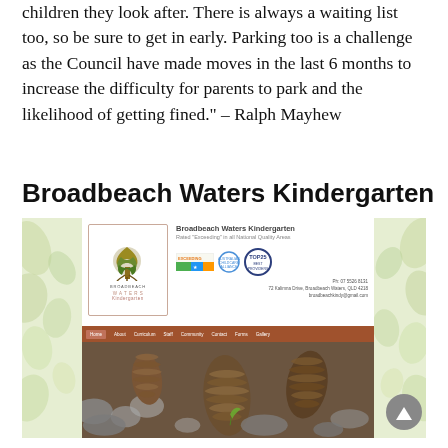children they look after. There is always a waiting list too, so be sure to get in early. Parking too is a challenge as the Council have made moves in the last 6 months to increase the difficulty for parents to park and the likelihood of getting fined." – Ralph Mayhew
Broadbeach Waters Kindergarten
[Figure (screenshot): Screenshot of the Broadbeach Waters Kindergarten website, showing the logo with a tree illustration, kindergarten name and tagline, EXCEEDING badge, two circular badges, contact details (phone, address, email), navigation menu (Home, About, Curriculum, Staff, Community, Contact, Forms, Gallery), and a hero photo of pine cones and stones.]